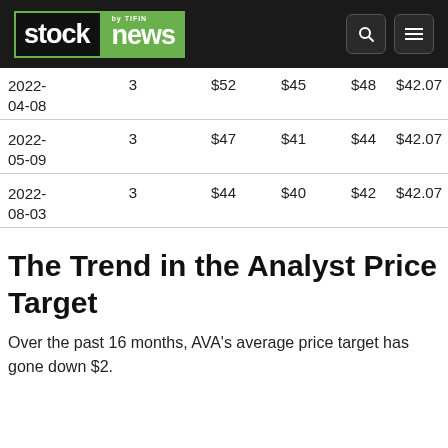stock news by TIFIN
| Date | Count | High | Low | Avg | Price |
| --- | --- | --- | --- | --- | --- |
| 2022-04-08 | 3 | $52 | $45 | $48 | $42.07 |
| 2022-05-09 | 3 | $47 | $41 | $44 | $42.07 |
| 2022-08-03 | 3 | $44 | $40 | $42 | $42.07 |
The Trend in the Analyst Price Target
Over the past 16 months, AVA's average price target has gone down $2.